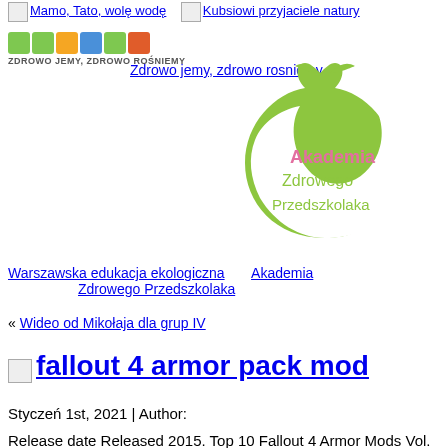Mamo, Tato, wolę wodę   Kubsiowi przyjaciele natury
[Figure (logo): Zdrowo jemy, zdrowo rośniemy logo with colored food icons]
Zdrowo jemy, zdrowo rosniemy
[Figure (logo): Akademia Zdrowego Przedszkolaka logo - green apple with leaves]
Warszawska edukacja ekologiczna    Akademia Zdrowego Przedszkolaka
« Wideo od Mikołaja dla grup IV
fallout 4 armor pack mod
Styczeń 1st, 2021 | Author:
Release date Released 2015. Top 10 Fallout 4 Armor Mods Vol.